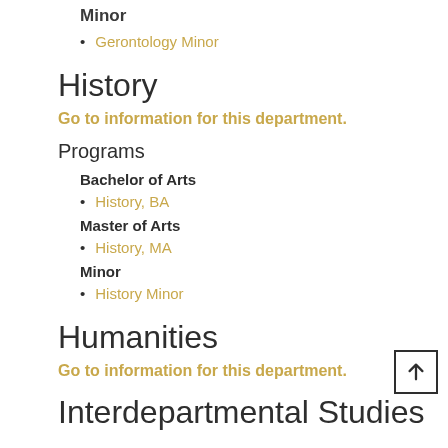Minor
Gerontology Minor
History
Go to information for this department.
Programs
Bachelor of Arts
History, BA
Master of Arts
History, MA
Minor
History Minor
Humanities
Go to information for this department.
Interdepartmental Studies